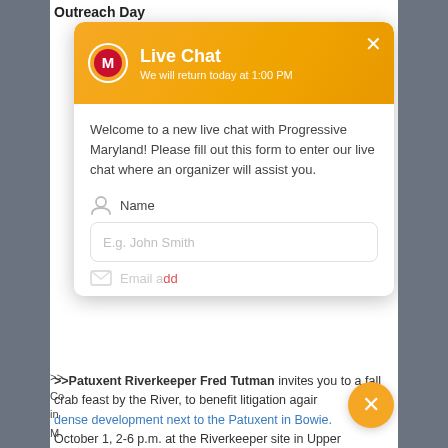Outreach Day
[Figure (screenshot): Live Chat widget overlay from Progressive Maryland showing orange gradient header with logo, title 'Live Chat', subtitle 'We will return today at 1:00 PM', close button (X), welcome message, Name field with placeholder 'E.g. John Smith', and partial Email field below.]
Welcome to a new live chat with Progressive Maryland! Please fill out this form to enter our live chat where an organizer will assist you.
>>Patuxent Riverkeeper Fred Tutman invites you to a fall crab feast by the River, to benefit litigation against dense development next to the Patuxent in Bowie. October 1, 2-6 p.m. at the Riverkeeper site in Upper Marlboro, donation $35. More info here